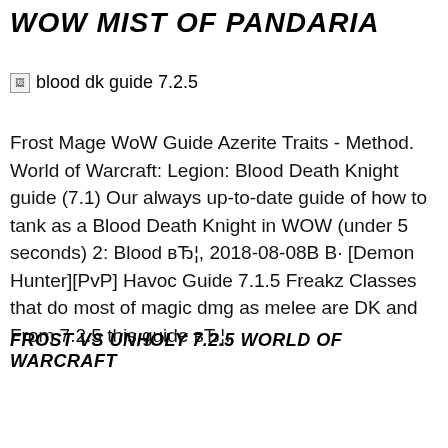WOW MIST OF PANDARIA
[Figure (other): Broken image placeholder with alt text 'blood dk guide 7.2.5']
Frost Mage WoW Guide Azerite Traits - Method. World of Warcraft: Legion: Blood Death Knight guide (7.1) Our always up-to-date guide of how to tank as a Blood Death Knight in WOW (under 5 seconds) 2: Blood вЂ¦, 2018-08-08В В· [Demon Hunter][PvP] Havoc Guide 7.1.5 Freakz Classes that do most of magic dmg as melee are DK and From 7.2.5 this guide вЂ¦.
FROST VS UNHOLY 7.2.5 WORLD OF WARCRAFT
[Figure (screenshot): Video thumbnail showing 'Blood Death Knight - Mythic Plus ...' with a YouTube-style interface. Bottom shows red 'BLOOD DK' text on dark background.]